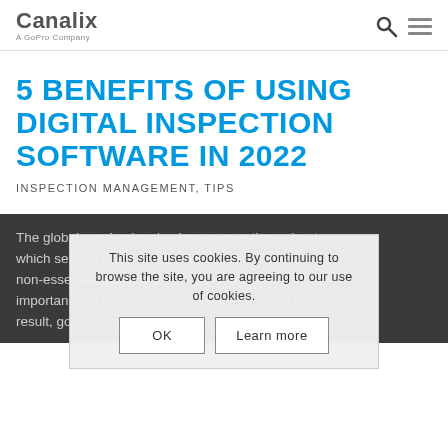Canalix — A GoPro Company
5 BENEFITS OF USING DIGITAL INSPECTION SOFTWARE IN 2022
INSPECTION MANAGEMENT, TIPS
The global pandemic raised many questions about which sectors of the economy are essential and non-essential, causing people reevaluate the importance of some industries over others. As a result, governments finally started addressing the
This site uses cookies. By continuing to browse the site, you are agreeing to our use of cookies.